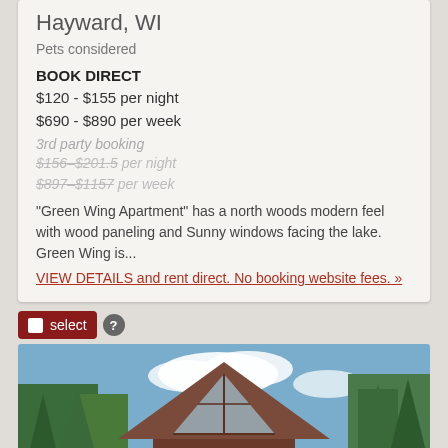Hayward, WI
Pets considered
BOOK DIRECT
$120 - $155 per night
$690 - $890 per week
3rd party booking
$156–$201.5 per night
$897–$1157 per week
"Green Wing Apartment" has a north woods modern feel with wood paneling and Sunny windows facing the lake. Green Wing is...
VIEW DETAILS and rent direct. No booking website fees. »
select ?
[Figure (photo): Exterior photo of a log cabin or A-frame style vacation rental surrounded by trees, with large triangular window and deck, taken in summer.]
^ back to top